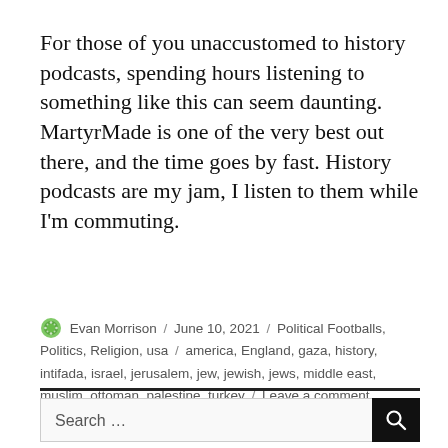For those of you unaccustomed to history podcasts, spending hours listening to something like this can seem daunting. MartyrMade is one of the very best out there, and the time goes by fast. History podcasts are my jam, I listen to them while I'm commuting.
Evan Morrison / June 10, 2021 / Political Footballs, Politics, Religion, usa / america, England, gaza, history, intifada, israel, jerusalem, jew, jewish, jews, middle east, muslim, ottoman, palestine, turkey / Leave a comment